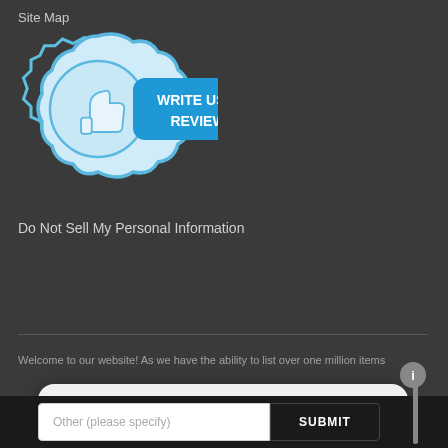Site Map
[Figure (illustration): Thumbs-up badge icon with blue ribbon/star shape and a blue rounded rectangle button with the text 'WRITE US A REVIEW' in white bold uppercase letters]
Do Not Sell My Personal Information
Welcome to our website! As we have the ability to list over one million items
HOW DID YOU FIND US TODAY?
Facebook
Yellow Pages
Community Sponsorship
Other (please specify)
SUBMIT